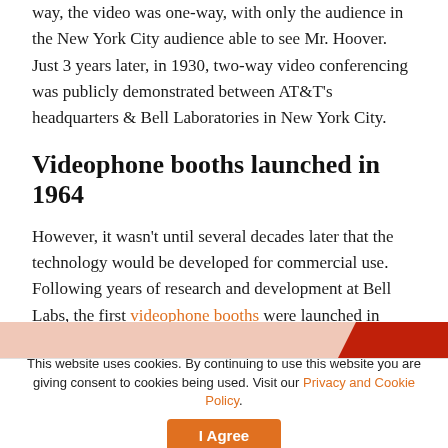way, the video was one-way, with only the audience in the New York City audience able to see Mr. Hoover. Just 3 years later, in 1930, two-way video conferencing was publicly demonstrated between AT&T's headquarters & Bell Laboratories in New York City.
Videophone booths launched in 1964
However, it wasn't until several decades later that the technology would be developed for commercial use. Following years of research and development at Bell Labs, the first videophone booths were launched in 1964, followed by the AT&T Picturephone service.
[Figure (photo): Partial image strip with pinkish background and dark red/orange accent block on the right]
This website uses cookies. By continuing to use this website you are giving consent to cookies being used. Visit our Privacy and Cookie Policy.